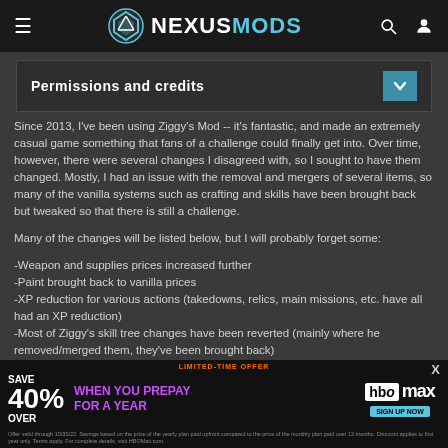NEXUSMODS
Permissions and credits
Since 2013, I've been using Ziggy's Mod -- it's fantastic, and made an extremely casual game something that fans of a challenge could finally get into. Over time, however, there were several changes I disagreed with, so I sought to have them changed. Mostly, I had an issue with the removal and mergers of several items, so many of the vanilla systems such as crafting and skills have been brought back but tweaked so that there is still a challenge.
Many of the changes will be listed below, but I will probably forget some:
-Weapon and supplies prices increased further
-Paint brought back to vanilla prices
-XP reduction for various actions (takedowns, relics, main missions, etc. have all had an XP reduction)
-Most of Ziggy's skill tree changes have been reverted (mainly where he removed/merged them, they've been brought back)
-The crafting has been reverted back to vanilla with increased requirements... is required for gear, m...
[Figure (screenshot): HBO Max advertisement banner: 'LIMITED-TIME OFFER SAVE OVER 40% WHEN YOU PREPAY FOR A YEAR' with HBO Max logo and SIGN UP NOW button. Fine print about offer validity.]